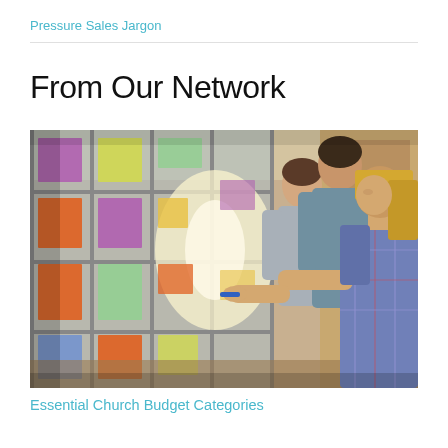Pressure Sales Jargon
From Our Network
[Figure (photo): Three people (two men and a blonde woman in a plaid shirt) standing in front of a glass wall covered in colorful sticky notes (purple, orange, yellow, green, blue). The woman is writing on the glass with a marker. The scene is warmly lit with sunlight coming through the window.]
Essential Church Budget Categories